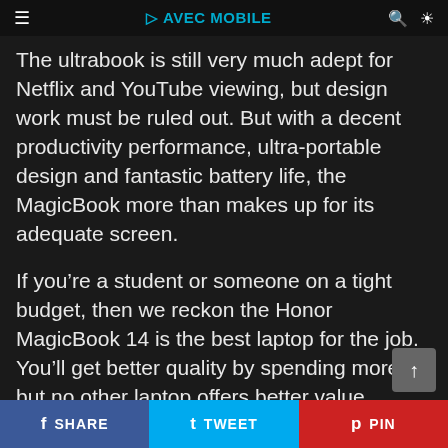≡ AVEC MOBILE
The ultrabook is still very much adept for Netflix and YouTube viewing, but design work must be ruled out. But with a decent productivity performance, ultra-portable design and fantastic battery life, the MagicBook more than makes up for its adequate screen.
If you're a student or someone on a tight budget, then we reckon the Honor MagicBook 14 is the best laptop for the job. You'll get better quality by spending more, but no other laptop offers better value.
Read our full Honor MagicBook 14 review
SHARE  TWEET  PIN